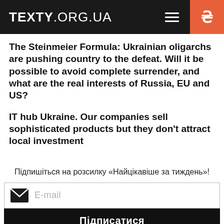TEXTY.ORG.UA
The Steinmeier Formula: Ukrainian oligarchs are pushing country to the defeat. Will it be possible to avoid complete surrender, and what are the real interests of Russia, EU and US?
IT hub Ukraine. Our companies sell sophisticated products but they don't attract local investment
Підпишіться на розсилку «Найцікавіше за тиждень»!
E-mail
Підписатися